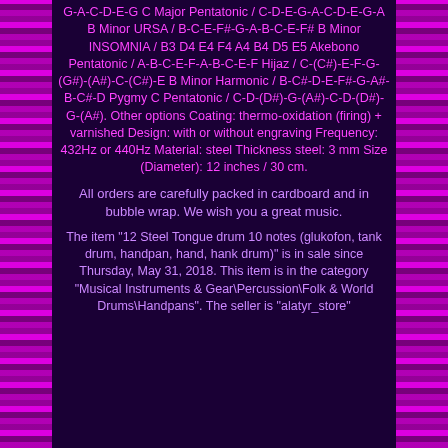G-A-C-D-E-G C Major Pentatonic / C-D-E-G-A-C-D-E-G-A B Minor URSA / B-C-E-F#-G-A-B-C-E-F# B Minor INSOMNIA / B3 D4 E4 F4 A4 B4 D5 E5 Akebono Pentatonic / A-B-C-E-F-A-B-C-E-F Hijaz / C-(C#)-E-F-G-(G#)-(A#)-C-(C#)-E B Minor Harmonic / B-C#-D-E-F#-G-A#-B-C#-D Pygmy C Pentatonic / C-D-(D#)-G-(A#)-C-D-(D#)-G-(A#). Other options Coating: thermo-oxidation (firing) + varnished Design: with or without engraving Frequency: 432Hz or 440Hz Material: steel Thickness steel: 3 mm Size (Diameter): 12 inches / 30 cm.
All orders are carefully packed in cardboard and in bubble wrap. We wish you a great music.
The item "12 Steel Tongue drum 10 notes (glukofon, tank drum, handpan, hand, hank drum)" is in sale since Thursday, May 31, 2018. This item is in the category "Musical Instruments & Gear\Percussion\Folk & World Drums\Handpans". The seller is "alatyr_store"